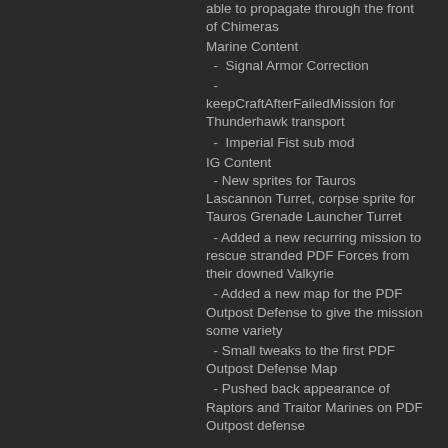able to propagate through the front of Chimeras
Marine Content
-  Signal Armor Correction
- keepCraftAfterFailedMission for Thunderhawk transport
-  Imperial Fist sub mod
IG Content
- New sprites for Tauros Lascannon Turret, corpse sprite for Tauros Grenade Launcher Turret
- Added a new recurring mission to rescue stranded PDF Forces from their downed Valkyrie
- Added a new map for the PDF Outpost Defense to give the mission some variety
- Small tweaks to the first PDF Outpost Defense Map
- Pushed back appearance of Raptors and Traitor Marines on PDF Outpost defense